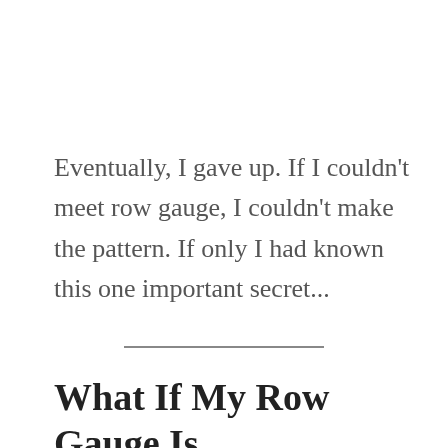Eventually, I gave up. If I couldn't meet row gauge, I couldn't make the pattern. If only I had known this one important secret...
What If My Row Gauge Is Off?